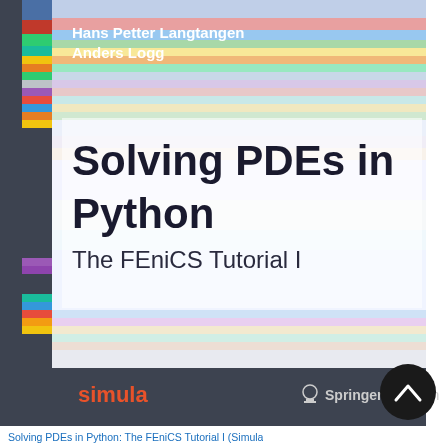[Figure (illustration): Book cover of 'Solving PDEs in Python: The FEniCS Tutorial I' by Hans Petter Langtangen and Anders Logg. Published by Simula and Springer Open. Cover features colorful horizontal gradient stripes on a white/light background with dark spine.]
Solving PDEs in Python: The FEniCS Tutorial I (Simula